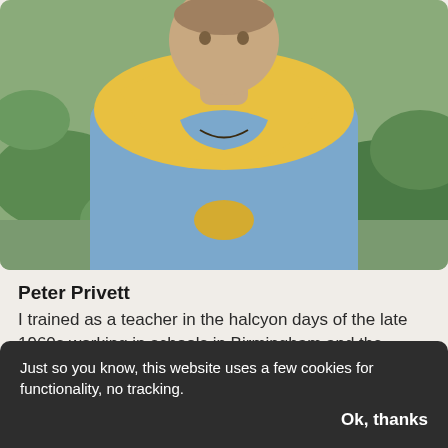[Figure (photo): Photo of Peter Privett, a man wearing a blue shirt and yellow hoodie tied around his neck, outdoors with green vegetation in background]
Peter Privett
I trained as a teacher in the halcyon days of the late 1960s working in schools in Birmingham and the Industrial Midlands where creativity and child-centred education ruled the day. I was originally a Primary school teacher.
Read more →
Just so you know, this website uses a few cookies for functionality, no tracking.
Ok, thanks